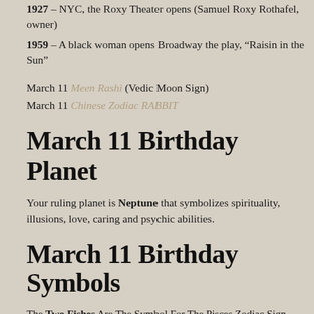1927 – NYC, the Roxy Theater opens (Samuel Roxy Rothafel, owner)
1959 – A black woman opens Broadway the play, “Raisin in the Sun”
March 11 Meen Rashi (Vedic Moon Sign)
March 11 Chinese Zodiac RABBIT
March 11 Birthday Planet
Your ruling planet is Neptune that symbolizes spirituality, illusions, love, caring and psychic abilities.
March 11 Birthday Symbols
The Two Fishes Are The Symbol For The Pisces Zodiac Sign
March 11 Birthday Tarot